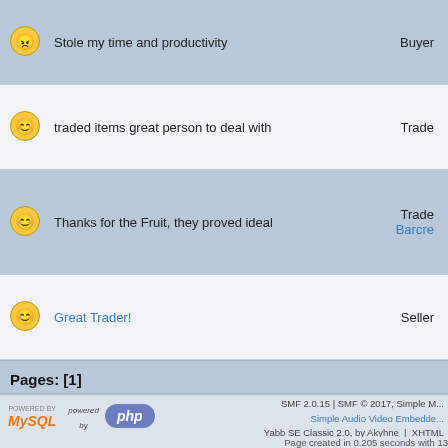Stole my time and productivity  Buyer
traded items great person to deal with  Trade
Thanks for the Fruit, they proved ideal  Trade Barcre
Great Trader!  Seller
Pages: [1]
Powered by SMF Trader Syst
SMF 2.0.15 | SMF © 2017, Simple M... Simple Audio Video Embedde... Yabb SE Classic 2.0, by Akyhne | XHTML Page created in 0.205 seconds with 13